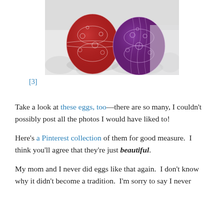[Figure (photo): Two decorative Easter eggs — one red and one purple/violet — with intricate white floral lace-like patterns, resting on a white lacy fabric background.]
[3]
Take a look at these eggs, too—there are so many, I couldn't possibly post all the photos I would have liked to!
Here's a Pinterest collection of them for good measure.  I think you'll agree that they're just beautiful.
My mom and I never did eggs like that again.  I don't know why it didn't become a tradition.  I'm sorry to say I never